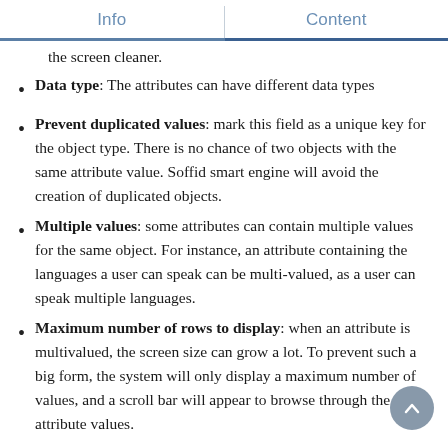Info | Content
the screen cleaner.
Data type: The attributes can have different data types
Prevent duplicated values: mark this field as a unique key for the object type. There is no chance of two objects with the same attribute value. Soffid smart engine will avoid the creation of duplicated objects.
Multiple values: some attributes can contain multiple values for the same object. For instance, an attribute containing the languages a user can speak can be multi-valued, as a user can speak multiple languages.
Maximum number of rows to display: when an attribute is multivalued, the screen size can grow a lot. To prevent such a big form, the system will only display a maximum number of values, and a scroll bar will appear to browse through the attribute values.